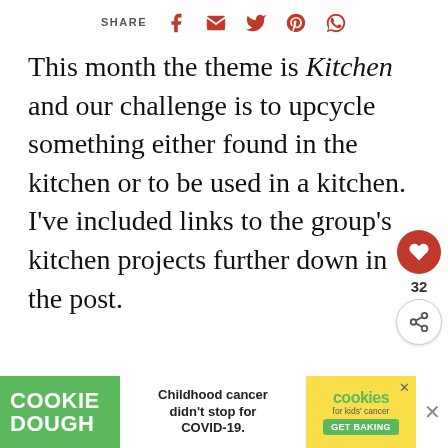SHARE [social icons: Facebook, Email, Twitter, Pinterest, WhatsApp]
This month the theme is Kitchen and our challenge is to upcycle something either found in the kitchen or to be used in a kitchen. I've included links to the group's kitchen projects further down in the post.
As I mentioned earlier, you can see in the photo below that the handmade win... are made with recycled cutlery, a sugar bowl, an... fin...